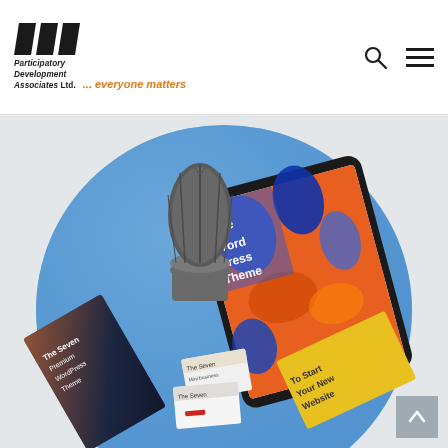Participatory Development Associates Ltd. ... everyone matters
[Figure (photo): A flatlay product/branding mockup on a blue circular surface over a light grey background. Items include: a cactus in a grey pot, a tablet showing a colorful abstract art WordPress theme display, dark book/box branded 'The Seven Premium WordPress Theme', small business card boxes labeled 'The Seven', and a yellow book/box reading 'To Start Your New Website'. A scroll-to-top arrow button appears bottom-right.]